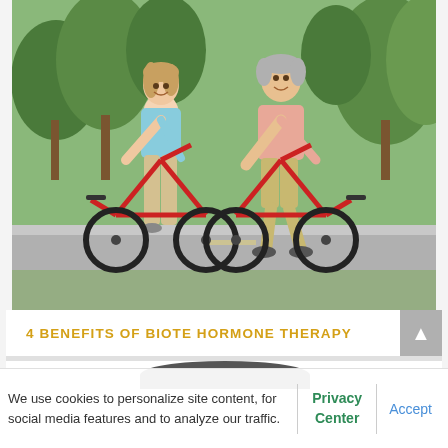[Figure (photo): Middle-aged couple smiling and riding red bicycles on a path in a green park. Woman on left wearing light blue sleeveless top and beige pants, man on right wearing pink polo shirt and khaki shorts. Green trees and grass in background.]
4 BENEFITS OF BIOTE HORMONE THERAPY
We use cookies to personalize site content, for social media features and to analyze our traffic.